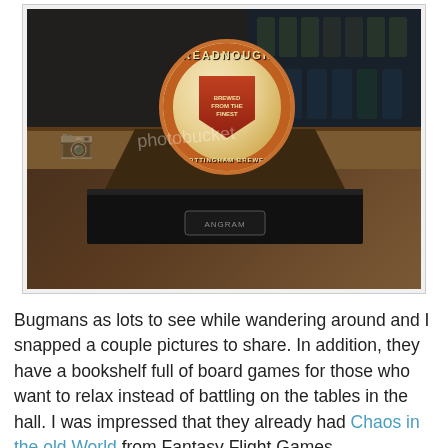[Figure (photo): A Dreadnought beer pump clip from The Nottingham Brewery Ltd on a wooden pump stand with gold neck, displayed on a bar counter. The circular clip shows 'BREWED FROM THE FINEST BARLEY, MALT & CHOICE HOPS'. The base has an 'ANGRAM' badge. A photobucket watermark is visible.]
Bugmans as lots to see while wandering around and I snapped a couple pictures to share. In addition, they have a bookshelf full of board games for those who want to relax instead of battling on the tables in the hall. I was impressed that they already had Chaos in the old World from Fantasy Flight Games.